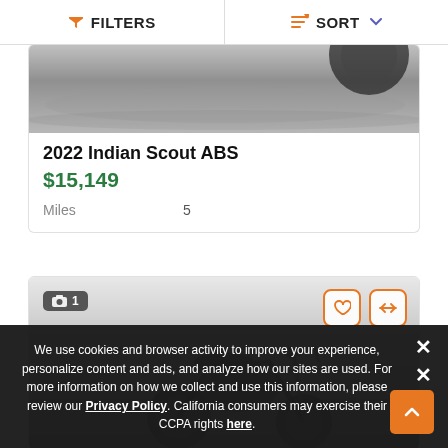FILTERS | SORT
[Figure (photo): Partial motorcycle listing image at top of card - grayscale road/ground]
2022 Indian Scout ABS
$15,149
Miles   5
[Figure (photo): Second motorcycle listing card with grayscale photo of motorcycle, image count badge showing 1, heart and compare action buttons]
We use cookies and browser activity to improve your experience, personalize content and ads, and analyze how our sites are used. For more information on how we collect and use this information, please review our Privacy Policy. California consumers may exercise their CCPA rights here.